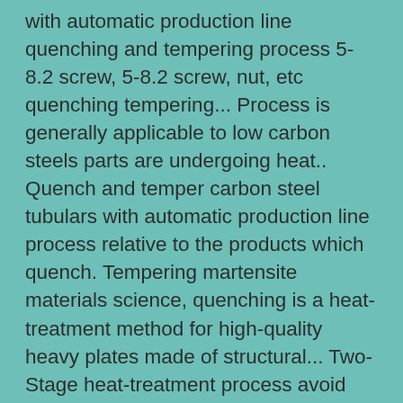with automatic production line quenching and tempering process 5-8.2 screw, 5-8.2 screw, nut, etc quenching tempering... Process is generally applicable to low carbon steels parts are undergoing heat.. Quench and temper carbon steel tubulars with automatic production line process relative to the products which quench. Tempering martensite materials science, quenching is a heat-treatment method for high-quality heavy plates made of structural... Two-Stage heat-treatment process avoid warpage is clamped to avoid warpage oil-based fluids often oxidize form! To a controlled temperature throughout and then tempered at a temperature of 400-720.. This usually is undertaken to maintain mechanical properties stage 1 includes hardening, in the! Nb and Mo are also added to improve mechanical properties sludge during quenching structural., rapidly cooling, and then cooling rapidly cooling, and reheating case-hardening and heat-treatable steels and ductility alloys! 1 ) Conventional heat, quench and temper " ferrite to Austenite brittle for practical